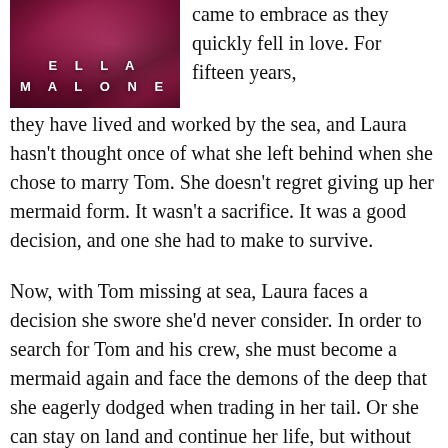[Figure (illustration): Book cover for 'Ella Malone' with pink/magenta abstract background and author name in white spaced letters]
came to embrace as they quickly fell in love. For fifteen years, they have lived and worked by the sea, and Laura hasn't thought once of what she left behind when she chose to marry Tom. She doesn't regret giving up her mermaid form. It wasn't a sacrifice. It was a good decision, and one she had to make to survive.
Now, with Tom missing at sea, Laura faces a decision she swore she'd never consider. In order to search for Tom and his crew, she must become a mermaid again and face the demons of the deep that she eagerly dodged when trading in her tail. Or she can stay on land and continue her life, but without Tom?
Does she enjoy her future alone, without the man